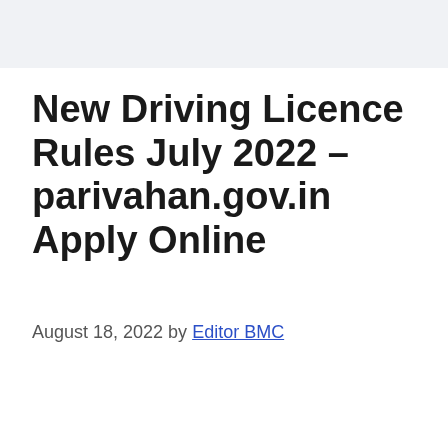New Driving Licence Rules July 2022 – parivahan.gov.in Apply Online
August 18, 2022 by Editor BMC